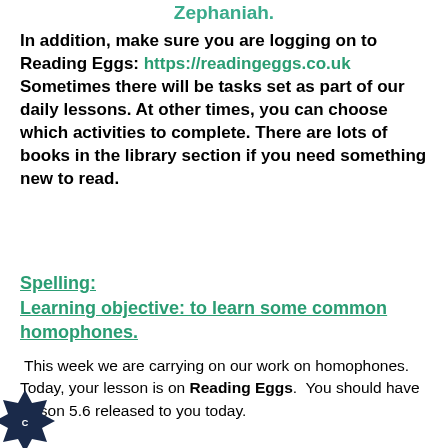Zephaniah.
In addition, make sure you are logging on to Reading Eggs:  https://readingeggs.co.uk Sometimes there will be tasks set as part of our daily lessons. At other times, you can choose which activities to complete. There are lots of books in the library section if you need something new to read.
Spelling:
Learning objective: to learn some common homophones.
This week we are carrying on our work on homophones. Today, your lesson is on Reading Eggs.  You should have lesson 5.6 released to you today.
you have finished, have a look back through the